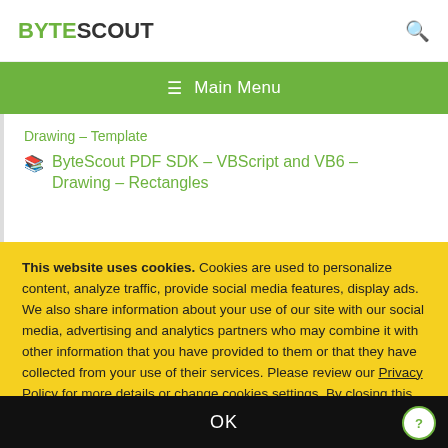BYTESCOUT
≡ Main Menu
Drawing – Template
ByteScout PDF SDK – VBScript and VB6 – Drawing – Rectangles
This website uses cookies. Cookies are used to personalize content, analyze traffic, provide social media features, display ads. We also share information about your use of our site with our social media, advertising and analytics partners who may combine it with other information that you have provided to them or that they have collected from your use of their services. Please review our Privacy Policy for more details or change cookies settings. By closing this banner or by clicking a link or continuing to browse otherwise, you consent to our cookies.
OK